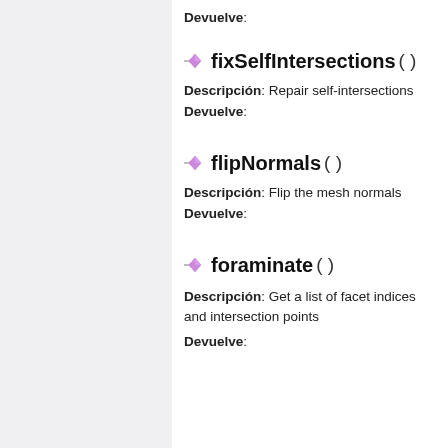Devuelve:
fixSelfIntersections ( )
Descripción: Repair self-intersections
Devuelve:
flipNormals ( )
Descripción: Flip the mesh normals
Devuelve:
foraminate ( )
Descripción: Get a list of facet indices and intersection points
Devuelve: